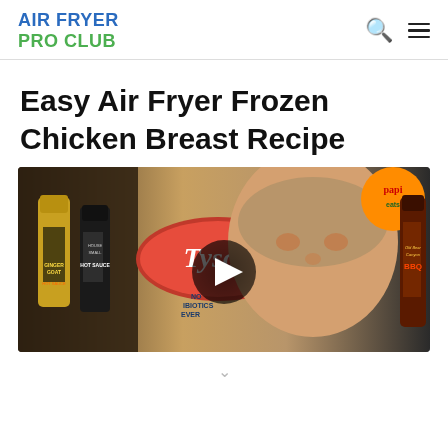AIR FRYER PRO CLUB
Easy Air Fryer Frozen Chicken Breast Recipe
[Figure (photo): Video thumbnail showing a man's face alongside hot sauce bottles, a Tyson chicken package, and BBQ sauce. A play button is overlaid in the center.]